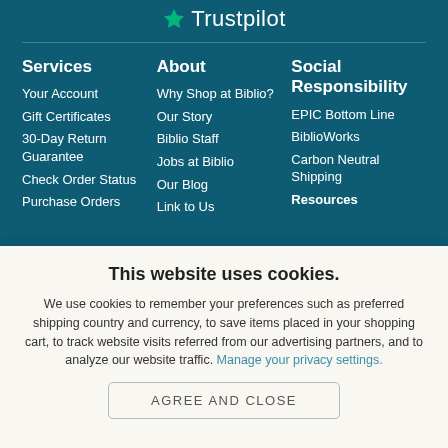[Figure (logo): Trustpilot logo with green star icon and white text]
Services
Your Account
Gift Certificates
30-Day Return Guarantee
Check Order Status
Purchase Orders
About
Why Shop at Biblio?
Our Story
Biblio Staff
Jobs at Biblio
Our Blog
Link to Us
Social Responsibility
EPIC Bottom Line
BiblioWorks
Carbon Neutral Shipping
Resources
This website uses cookies.
We use cookies to remember your preferences such as preferred shipping country and currency, to save items placed in your shopping cart, to track website visits referred from our advertising partners, and to analyze our website traffic. Manage your privacy settings.